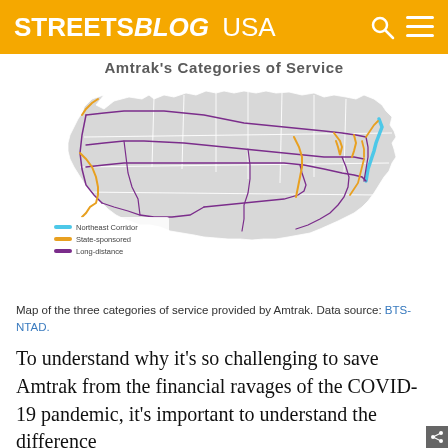STREETSBLOG USA
Amtrak's Categories of Service
[Figure (map): Map of the United States showing Amtrak's three categories of service: Northeast Corridor (blue), State-sponsored (orange/gold), and Long-distance (purple) rail lines.]
Map of the three categories of service provided by Amtrak. Data source: BTS-NTAD.
To understand why it’s so challenging to save Amtrak from the financial ravages of the COVID-19 pandemic, it’s important to understand the difference